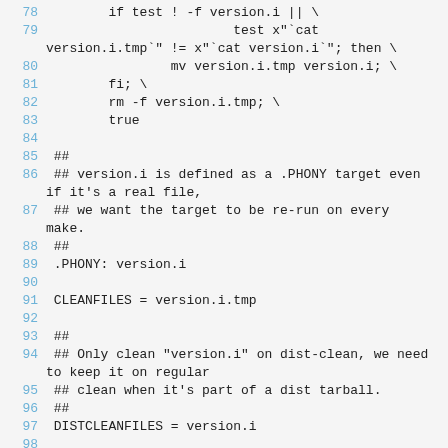Code listing lines 78-98 of a Makefile showing version.i target, PHONY declaration, CLEANFILES and DISTCLEANFILES assignments with comments